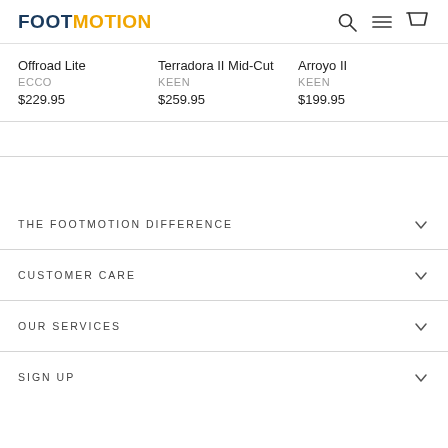FOOTMOTION
Offroad Lite | ECCO | $229.95
Terradora II Mid-Cut | KEEN | $259.95
Arroyo II | KEEN | $199.95
THE FOOTMOTION DIFFERENCE
CUSTOMER CARE
OUR SERVICES
SIGN UP